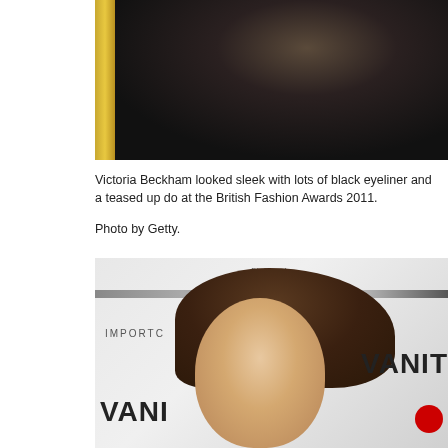[Figure (photo): Victoria Beckham at British Fashion Awards 2011, wearing black, dark background with gold frame visible on left]
Victoria Beckham looked sleek with lots of black eyeliner and a teased up do at the British Fashion Awards 2011.
Photo by Getty.
[Figure (photo): Victoria Beckham at a Vanity Fair event, with dark hair pulled back, heavy eye makeup, wearing dark clothing. VANIT(Y FAIR) text visible on backdrop, Blanche Lingerie and Chrysler logos in background, red Virgin logo bottom right.]